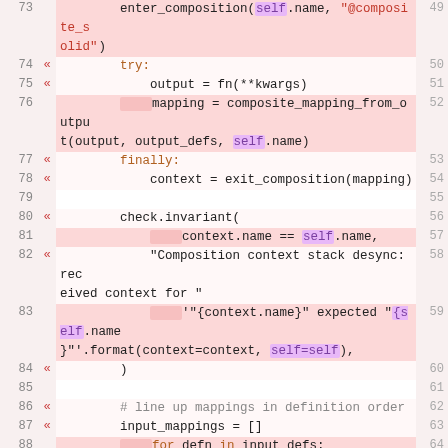[Figure (screenshot): Code diff view showing Python source code lines 73-92 with line numbers on both left and right sides. Lines have pink/red highlighting indicating added or changed code. Keywords like 'self', 'for', 'in', 'try', 'finally' are highlighted in purple/orange. String literals shown in red.]